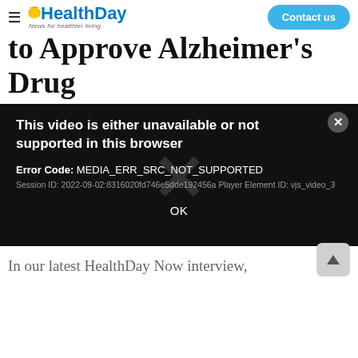HealthDay — News for healthier living | Contact us
to Approve Alzheimer's Drug
[Figure (screenshot): Video player error overlay on a black background. Shows error: 'This video is either unavailable or not supported in this browser'. Error Code: MEDIA_ERR_SRC_NOT_SUPPORTED. Session ID: 2022-09-02:8316020fd746e5dde192456a Player Element ID: vjs_video_3. A large X watermark is visible. An OK button and close (×) button are shown.]
In our latest HealthDay Now interview,